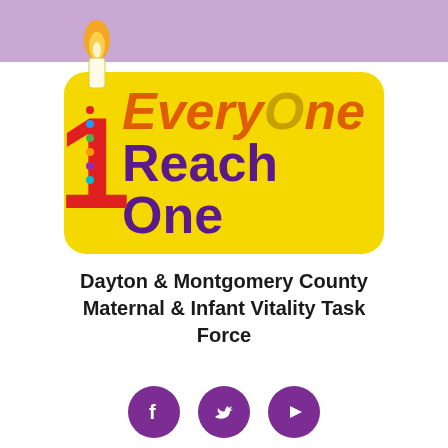[Figure (logo): EveryOne Reach One logo with candle and the number 1, on a yellow rounded rectangle background, with multicolored dots on the 1]
Dayton & Montgomery County Maternal & Infant Vitality Task Force
[Figure (illustration): Three purple social media icons: Facebook (f), Twitter (bird), YouTube (play button)]